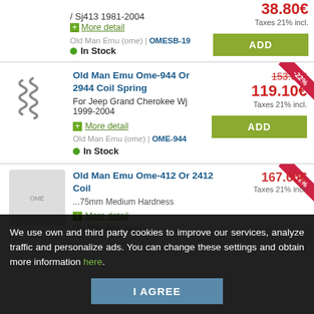/ Sj413 1981-2004
38.80€
+ More detail
Taxes 21% incl.
Old Man Emu (ome) | OMESB-19
● In Stock
ADD
Old Man Emu Ome-944 Or 2944 Coil Spring
For Jeep Grand Cherokee Wj 1999-2004
+ More detail
153.63€
119.10€
Taxes 21% incl.
Old Man Emu (ome) | OME-944
● In Stock
ADD
Old Man Emu Ome-412 Or 2412 Coil
167.60€
Taxes 21% incl.
+ More detail
Old Man Emu (ome)
We use own and third party cookies to improve our services, analyze traffic and personalize ads. You can change these settings and obtain more information here.
I AGREE